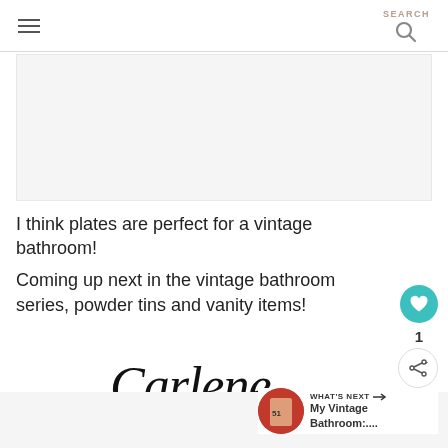SEARCH
[Figure (photo): Image placeholder area for a vintage bathroom photo]
I think plates are perfect for a vintage bathroom!
Coming up next in the vintage bathroom series, powder tins and vanity items!
[Figure (illustration): Handwritten cursive signature reading 'Carlene']
WHAT'S NEXT → My Vintage Bathroom:....